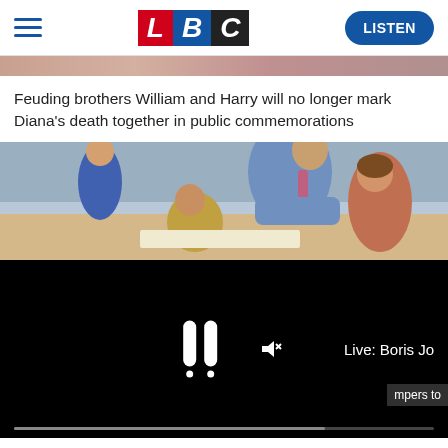LBC — LISTEN
[Figure (photo): Partial photo strip at top of page, blurred colored image]
Feuding brothers William and Harry will no longer mark Diana's death together in public commemorations
[Figure (photo): Classroom scene: a male teacher in a blue shirt and tie leaning over children working at a desk, children visible in background]
[Figure (screenshot): Black video player overlay with pause button icon, mute icon with X, and text 'Live: Boris Jo...' Progress bar at bottom.]
pupils to tackle soaring energy bills